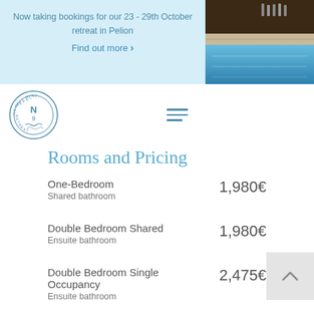Now taking bookings for our 23 - 29th October retreat in Pelion
Find out more ›
[Figure (photo): Photo of a swimming pool with blue water and stonework, partial view of wooden furniture in upper portion]
[Figure (logo): Nefeli Nine Retreat circular logo with N9 in center and wave motif]
Rooms and Pricing
One-Bedroom
Shared bathroom
1,980€
Double Bedroom Shared
Ensuite bathroom
1,980€
Double Bedroom Single Occupancy
Ensuite bathroom
2,475€